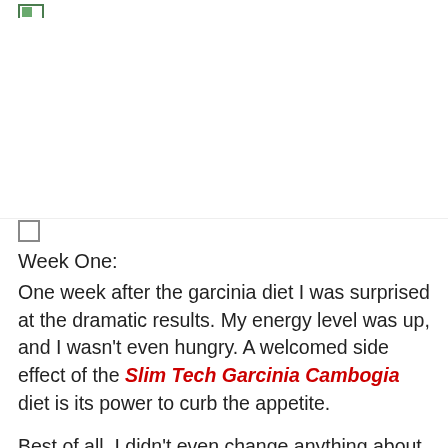[logo]
[Figure (other): Large white/blank image area placeholder in upper portion of page]
Week One:
One week after the garcinia diet I was surprised at the dramatic results. My energy level was up, and I wasn't even hungry. A welcomed side effect of the Slim Tech Garcinia Cambogia diet is its power to curb the appetite.
Best of all, I didn't even change anything about my